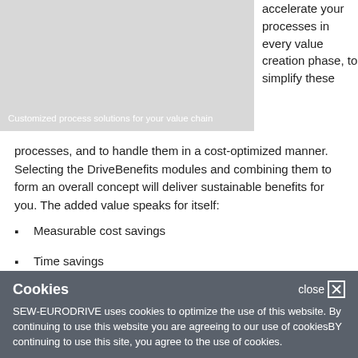[Figure (photo): Gray image area showing customized process solutions graphic]
Customized process solutions for your value chain
accelerate your processes in every value creation phase, to simplify these processes, and to handle them in a cost-optimized manner. Selecting the DriveBenefits modules and combining them to form an overall concept will deliver sustainable benefits for you. The added value speaks for itself:
Measurable cost savings
Time savings
Increased process safety
Cookies
SEW-EURODRIVE uses cookies to optimize the use of this website. By continuing to use this website you are agreeing to our use of cookiesBY continuing to use this site, you agree to the use of cookies.